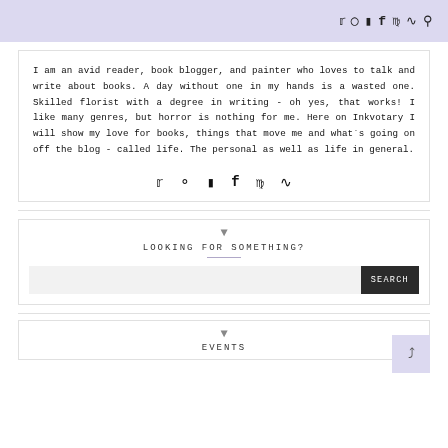Social media icons: Twitter, Instagram, Blog, Facebook, Pinterest, RSS, Search
I am an avid reader, book blogger, and painter who loves to talk and write about books. A day without one in my hands is a wasted one. Skilled florist with a degree in writing - oh yes, that works! I like many genres, but horror is nothing for me. Here on Inkvotary I will show my love for books, things that move me and what´s going on off the blog - called life. The personal as well as life in general.
[Figure (other): Row of social media icons: Twitter, Instagram, Blog, Facebook, Pinterest, RSS]
LOOKING FOR SOMETHING?
[Figure (other): Search bar with SEARCH button]
EVENTS